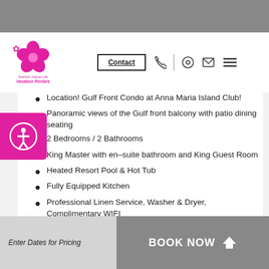Contact | Navigation
[Figure (logo): Starfish Island Life Vacation Rentals logo with pink hibiscus flower]
Location! Gulf Front Condo at Anna Maria Island Club!
Panoramic views of the Gulf front balcony with patio dining seating
2 Bedrooms / 2 Bathrooms
King Master with en-suite bathroom and King Guest Room
Heated Resort Pool & Hot Tub
Fully Equipped Kitchen
Professional Linen Service, Washer & Dryer, Complimentary WIFI
Beach Chairs & Beach Towels
Elevators in Building
Enter Dates for Pricing   BOOK NOW